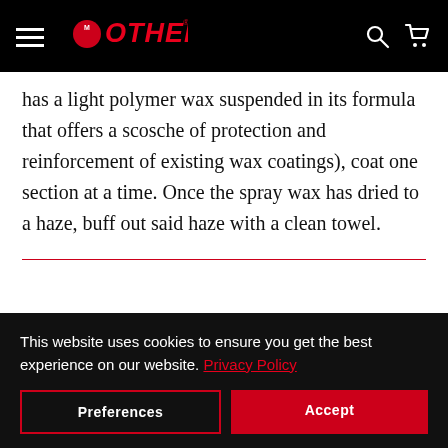MOTHERS
has a light polymer wax suspended in its formula that offers a scosche of protection and reinforcement of existing wax coatings), coat one section at a time. Once the spray wax has dried to a haze, buff out said haze with a clean towel.
This website uses cookies to ensure you get the best experience on our website. Privacy Policy
Preferences
Accept